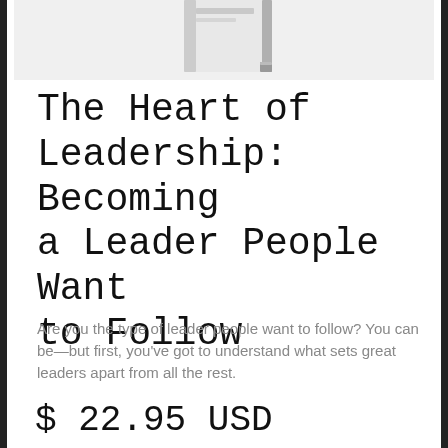[Figure (photo): Partial view of a book cover at the top of the page, showing the spine and partial front cover against a light grey background.]
The Heart of Leadership: Becoming a Leader People Want to Follow
Are you the type of leader people want to follow? You can be—but first, you've got to understand what sets great leaders apart from all the rest.
$ 22.95 USD